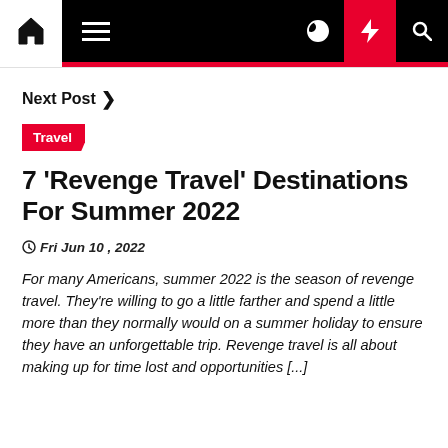Navigation bar with home, menu, dark mode, lightning, and search icons
Next Post >
Travel
7 'Revenge Travel' Destinations For Summer 2022
Fri Jun 10 , 2022
For many Americans, summer 2022 is the season of revenge travel. They're willing to go a little farther and spend a little more than they normally would on a summer holiday to ensure they have an unforgettable trip. Revenge travel is all about making up for time lost and opportunities [...]